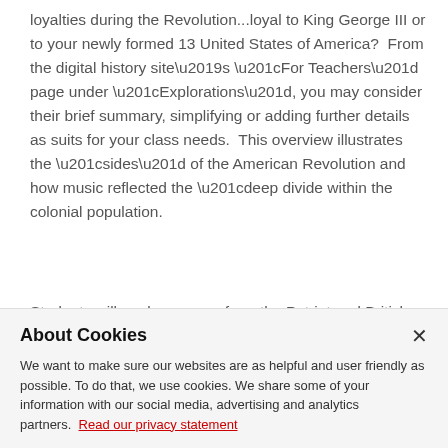loyalties during the Revolution...loyal to King George III or to your newly formed 13 United States of America?  From the digital history site's “For Teachers” page under “Explorations”, you may consider their brief summary, simplifying or adding further details as suits for your class needs.  This overview illustrates the “sides” of the American Revolution and how music reflected the “deep divide within the colonial population.
Students will analyze songs from the Patriot and British view, at first individually, then with a compare/contrast format.
Instructional St...
About Cookies

We want to make sure our websites are as helpful and user friendly as possible. To do that, we use cookies. We share some of your information with our social media, advertising and analytics partners.  Read our privacy statement